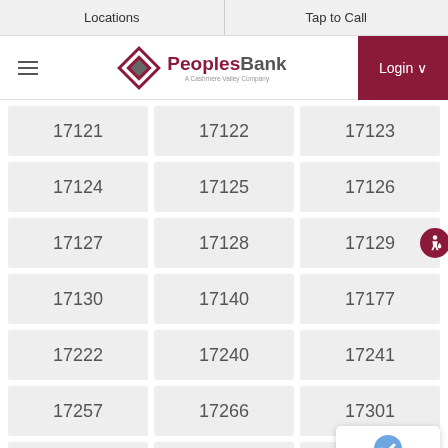Locations | Tap to Call
[Figure (logo): PeoplesBank logo with diamond icon and tagline 'A Cashmere Valley Company']
17121
17122
17123
17124
17125
17126
17127
17128
17129
17130
17140
17177
17222
17240
17241
17257
17266
17301
17302
17001
170…